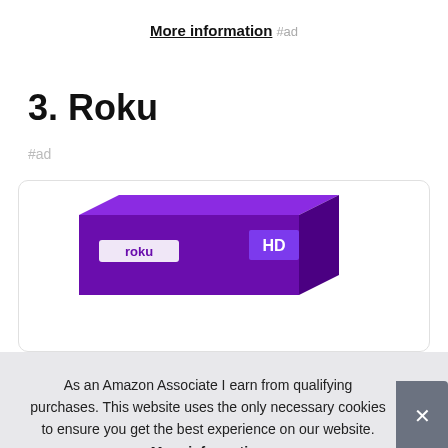More information #ad
3. Roku
#ad
[Figure (photo): Roku product box in purple packaging with 'HD' label, shown partially inside a product card with rounded border]
As an Amazon Associate I earn from qualifying purchases. This website uses the only necessary cookies to ensure you get the best experience on our website. More information